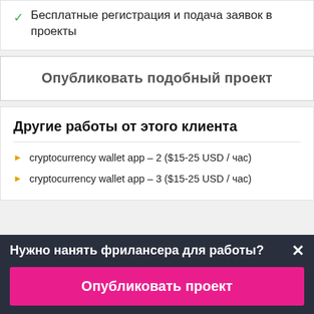Бесплатные регистрация и подача заявок в проекты
Опубликовать подобный проект
Другие работы от этого клиента
cryptocurrency wallet app – 2 ($15-25 USD / час)
cryptocurrency wallet app – 3 ($15-25 USD / час)
Нужно нанять фрилансера для работы?
Опубликовать проект